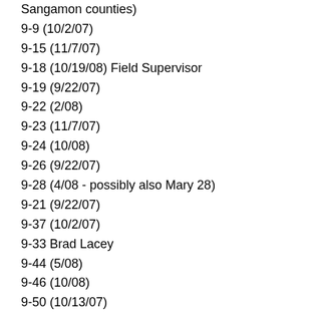Sangamon counties)
9-9 (10/2/07)
9-15 (11/7/07)
9-18 (10/19/08) Field Supervisor
9-19 (9/22/07)
9-22 (2/08)
9-23 (11/7/07)
9-24 (10/08)
9-26 (9/22/07)
9-28 (4/08 - possibly also Mary 28)
9-21 (9/22/07)
9-37 (10/2/07)
9-33 Brad Lacey
9-44 (5/08)
9-46 (10/08)
9-50 (10/13/07)
9-51 (11/7/07) F
9-70 (11/08)